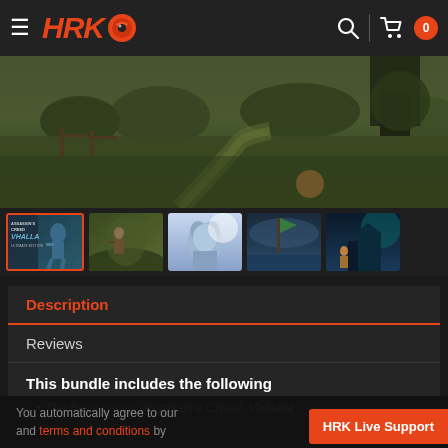[Figure (screenshot): HRK Game website header with logo, hamburger menu, search icon, and cart with 0 items]
[Figure (screenshot): Assassin's Creed Valhalla game screenshot showing a countryside scene with greenery and path]
[Figure (screenshot): Thumbnail strip with 5 game screenshots; first thumbnail (Valhalla cover art) is selected with orange border]
Description
Reviews
This bundle includes the following
The base game: Assassin's Creed: Valhalla
You automatically agree to our
and terms and conditions by